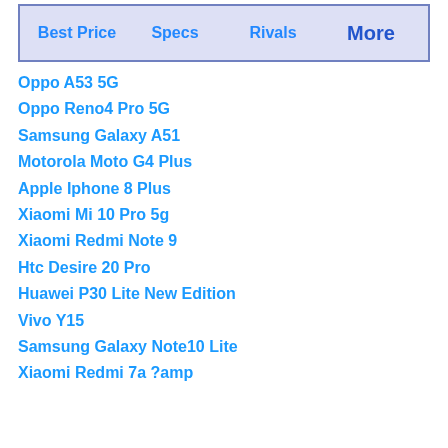| Best Price | Specs | Rivals | More |
| --- | --- | --- | --- |
Oppo A53 5G
Oppo Reno4 Pro 5G
Samsung Galaxy A51
Motorola Moto G4 Plus
Apple Iphone 8 Plus
Xiaomi Mi 10 Pro 5g
Xiaomi Redmi Note 9
Htc Desire 20 Pro
Huawei P30 Lite New Edition
Vivo Y15
Samsung Galaxy Note10 Lite
Xiaomi Redmi 7a ?amp